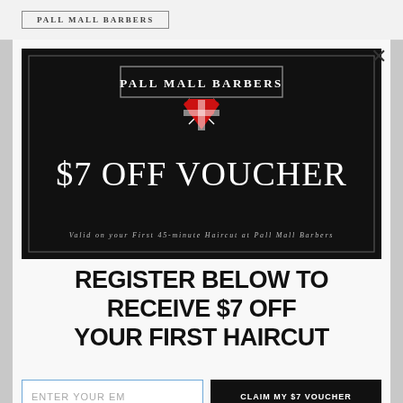PALL MALL BARBERS
[Figure (other): Pall Mall Barbers $7 Off Voucher promotional card on black background with brand logo, shield emblem, large text '$7 OFF VOUCHER', and text 'Valid on your First 45-minute Haircut at Pall Mall Barbers']
REGISTER BELOW TO RECEIVE $7 OFF YOUR FIRST HAIRCUT
ENTER YOUR EM
CLAIM MY $7 VOUCHER